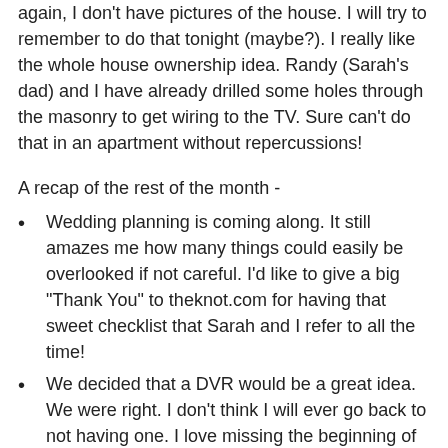again, I don't have pictures of the house. I will try to remember to do that tonight (maybe?). I really like the whole house ownership idea. Randy (Sarah's dad) and I have already drilled some holes through the masonry to get wiring to the TV. Sure can't do that in an apartment without repercussions!
A recap of the rest of the month -
Wedding planning is coming along. It still amazes me how many things could easily be overlooked if not careful. I'd like to give a big "Thank You" to theknot.com for having that sweet checklist that Sarah and I refer to all the time!
We decided that a DVR would be a great idea. We were right. I don't think I will ever go back to not having one. I love missing the beginning of sporting events without missing a thing! Just fast forward through some commercials and you are back in line with the live TV! I also ordered DIRECTV (through the Qwest bundle). It is the first time I have ever had digital cable. Great fun.